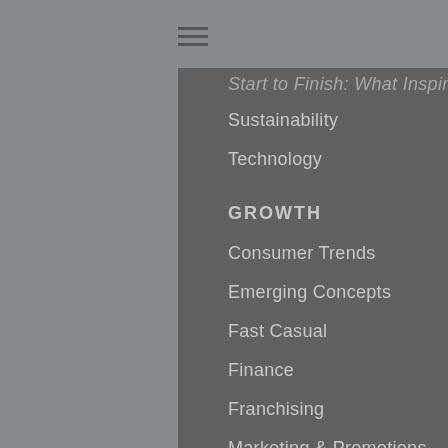Start to Finish: What Inspires Elites
Sustainability
Technology
GROWTH
Consumer Trends
Emerging Concepts
Fast Casual
Finance
Franchising
Marketing & Promotions
REPORTS
QSR 50
Drive-Thru Study
40/40 List
Best Franchise Deals
Download Center